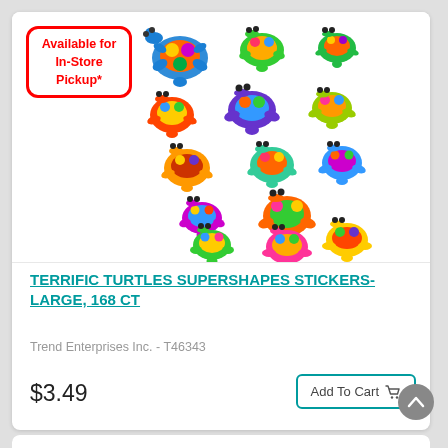[Figure (photo): Sheet of colorful cartoon turtle stickers in various bright colors including blue, green, yellow, orange, purple and pink. Multiple turtle stickers of different sizes arranged on a white background.]
Available for In-Store Pickup*
TERRIFIC TURTLES SUPERSHAPES STICKERS-LARGE, 168 CT
Trend Enterprises Inc. - T46343
$3.49
Add To Cart